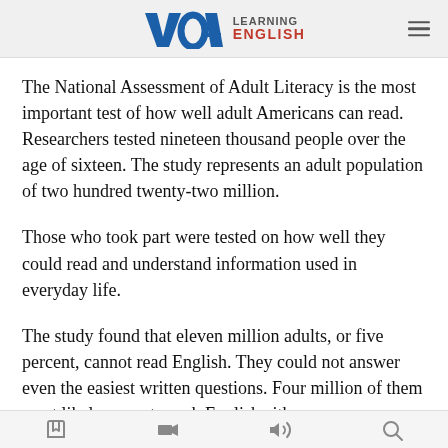VOA Learning English
The National Assessment of Adult Literacy is the most important test of how well adult Americans can read. Researchers tested nineteen thousand people over the age of sixteen. The study represents an adult population of two hundred twenty-two million.
Those who took part were tested on how well they could read and understand information used in everyday life.
The study found that eleven million adults, or five percent, cannot read English. They could not answer even the easiest written questions. Four million of them most likely cannot speak English either.
Navigation icons: library, video, audio, search